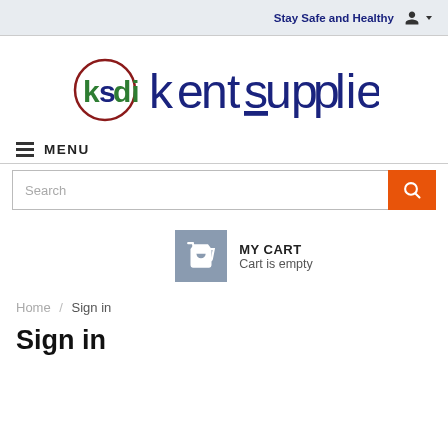Stay Safe and Healthy
[Figure (logo): Ksdi KentSupplies logo — circular icon with 'ksdi' in green/red on left, and 'kentsupplies' text in dark navy blue on right]
≡ MENU
Search
MY CART
Cart is empty
Home / Sign in
Sign in